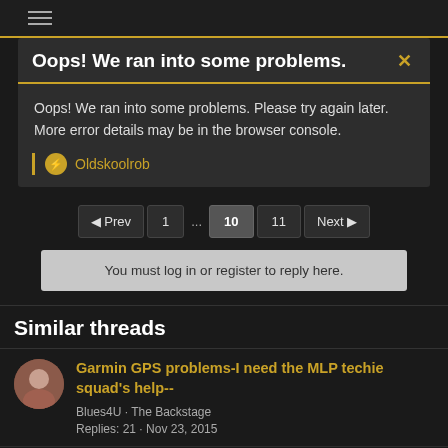[Figure (screenshot): Top navigation bar of a dark-themed website]
Oops! We ran into some problems.
Oops! We ran into some problems. Please try again later. More error details may be in the browser console.
Oldskoolrob
◄ Prev  1  ...  10  11  Next ►
You must log in or register to reply here.
Similar threads
Garmin GPS problems-I need the MLP techie squad's help--
Blues4U · The Backstage
Replies: 21 · Nov 23, 2015
Russians in the US. Yes. Again. Not spies.
sapounov · The Backstage